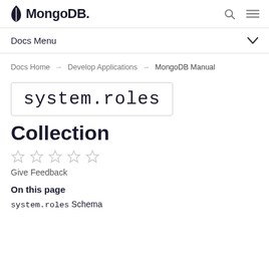MongoDB — Docs Menu
Docs Home → Develop Applications → MongoDB Manual
system.roles Collection
[Figure (other): Five star rating icons (empty/unfilled stars)]
Give Feedback
On this page
system.roles Schema